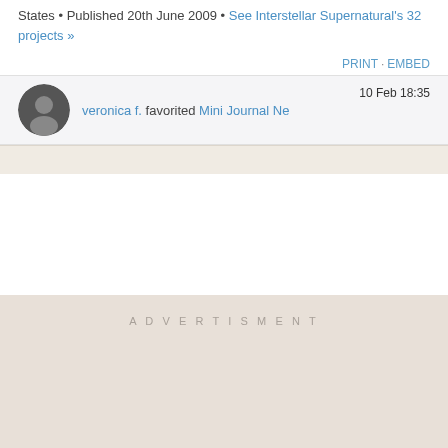States • Published 20th June 2009 • See Interstellar Supernatural's 32 projects »
PRINT · EMBED
veronica f. favorited Mini Journal Ne  10 Feb 18:35
ADVERTISMENT